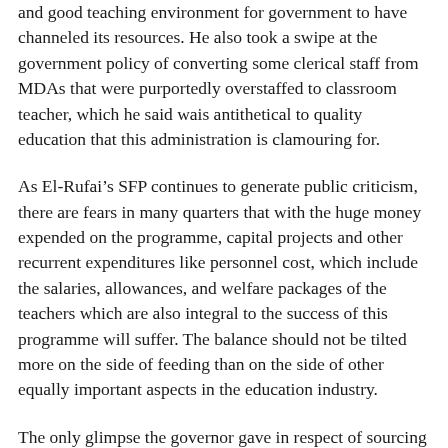and good teaching environment for government to have channeled its resources. He also took a swipe at the government policy of converting some clerical staff from MDAs that were purportedly overstaffed to classroom teacher, which he said wais antithetical to quality education that this administration is clamouring for.
As El-Rufai's SFP continues to generate public criticism, there are fears in many quarters that with the huge money expended on the programme, capital projects and other recurrent expenditures like personnel cost, which include the salaries, allowances, and welfare packages of the teachers which are also integral to the success of this programme will suffer. The balance should not be tilted more on the side of feeding than on the side of other equally important aspects in the education industry.
The only glimpse the governor gave in respect of sourcing money to fund the programme was when he said, “We are also grateful to the federal government which has, through the office of the Vice-President, provided technical support and has committed to